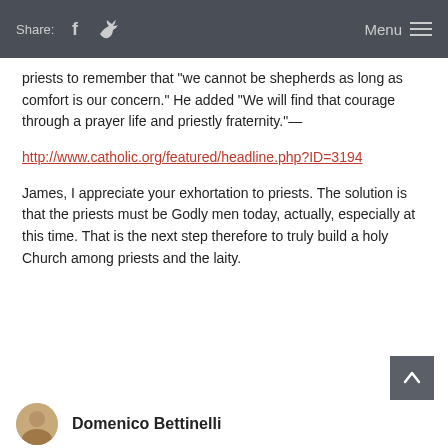Share: [Facebook] [Twitter]  Menu
priests to remember that "we cannot be shepherds as long as comfort is our concern." He added "We will find that courage through a prayer life and priestly fraternity."—
http://www.catholic.org/featured/headline.php?ID=3194
James, I appreciate your exhortation to priests. The solution is that the priests must be Godly men today, actually, especially at this time. That is the next step therefore to truly build a holy Church among priests and the laity.
Domenico Bettinelli